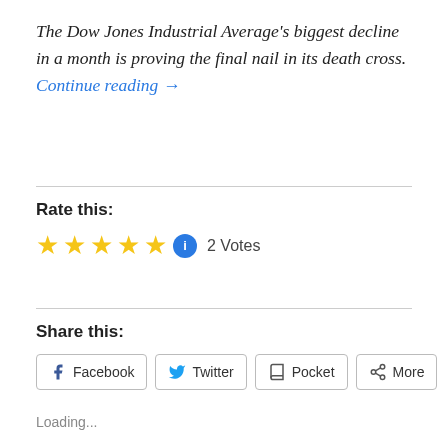The Dow Jones Industrial Average's biggest decline in a month is proving the final nail in its death cross. Continue reading →
Rate this:
[Figure (other): Five gold stars rating with info icon and '2 Votes' label]
Share this:
[Figure (other): Share buttons: Facebook, Twitter, Pocket, More]
Loading...